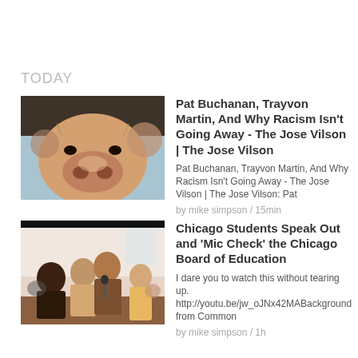TODAY
[Figure (photo): Close-up photo of a pig's snout and face looking into the camera, with other animals visible in the background]
Pat Buchanan, Trayvon Martin, And Why Racism Isn't Going Away - The Jose Vilson | The Jose Vilson
Pat Buchanan, Trayvon Martin, And Why Racism Isn't Going Away - The Jose Vilson | The Jose Vilson: Pat
by mike simpson / 15min
[Figure (photo): Photo of students speaking at a microphone in what appears to be a board meeting or public hearing, with an audience in the background]
Chicago Students Speak Out and 'Mic Check' the Chicago Board of Education
I dare you to watch this without tearing up. http://youtu.be/jw_oJNx42MABackground from Common
by mike simpson / 1h